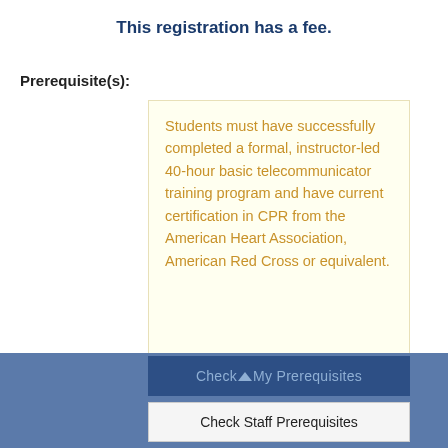This registration has a fee.
Prerequisite(s):
Students must have successfully completed a formal, instructor-led 40-hour basic telecommunicator training program and have current certification in CPR from the American Heart Association, American Red Cross or equivalent.
Check My Prerequisites
Check Staff Prerequisites